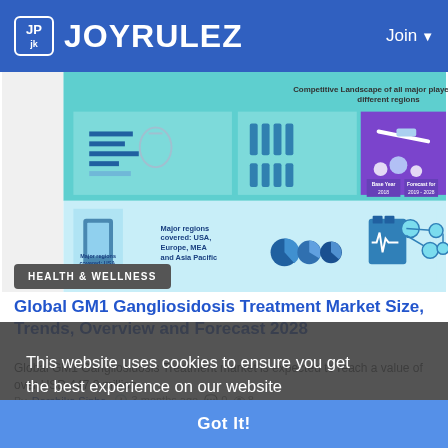JOYRULEZ — Join
[Figure (infographic): Market research infographic showing: Competitive Landscape of all major players across different regions; icons for syringe, pills, test tubes, clipboard with ECG, pie charts; Base Year 2018, Forecast for 2019-2028; Major regions covered: USA, Europe, MEA and Asia Pacific]
HEALTH & WELLNESS
Global GM1 Gangliosidosis Treatment Market Size, Trends, Overview and Forecast 2028
Global GM1 Gangliosidosis Treatment market is expected to reach a value of over USD 447.8 million...
By Darshika Sinha  3 months ago  0  8
This website uses cookies to ensure you get the best experience on our website
Learn More
Got It!